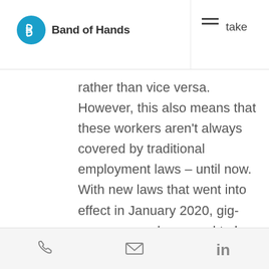Band of Hands
rather than vice versa. However, this also means that these workers aren't always covered by traditional employment laws – until now. With new laws that went into effect in January 2020, gig-economy workers need to be provided  with basic employee benefits like paid sick leave and healthcare coverage. With so many recent change, it is important that you understand how this will affect you as an independent contractor or temp worker going forward.
phone | email | linkedin